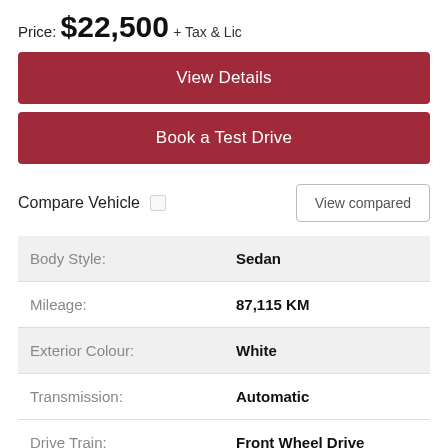Price: $22,500 + Tax & Lic
View Details
Book a Test Drive
Compare Vehicle  View compared
| Label | Value |
| --- | --- |
| Body Style: | Sedan |
| Mileage: | 87,115 KM |
| Exterior Colour: | White |
| Transmission: | Automatic |
| Drive Train: | Front Wheel Drive |